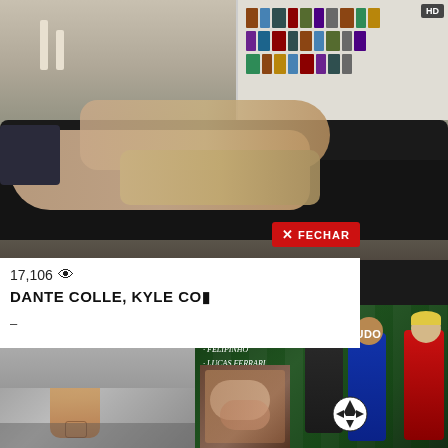[Figure (photo): Video thumbnail showing two men on a dark couch in a living room with bookshelves visible in background. HD badge in top right corner.]
17,106 👁
DANTE COLLE, KYLE CO...
✕ FECHAR
[Figure (photo): Soccer promotional poster with green grass background. Title: ENTRANDO COM BOLA E TUDO. Cast: FELIPINHO, LUCAS FERRARI, RICK VILELA. Three young men in sports jerseys posing with a soccer ball. meninos online badge.]
[Figure (photo): Bottom left thumbnail showing a person standing, partially visible.]
[Figure (photo): Small thumbnail showing sexual content, partially obscured.]